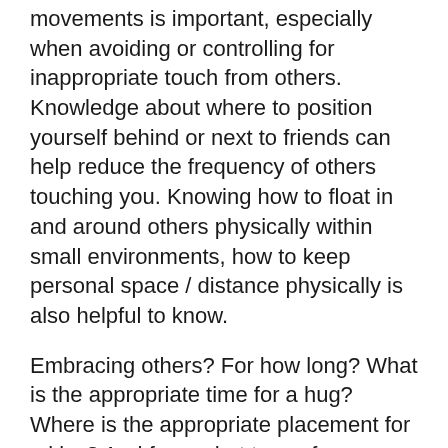movements is important, especially when avoiding or controlling for inappropriate touch from others. Knowledge about where to position yourself behind or next to friends can help reduce the frequency of others touching you. Knowing how to float in and around others physically within small environments, how to keep personal space / distance physically is also helpful to know.
Embracing others? For how long? What is the appropriate time for a hug? Where is the appropriate placement for a kiss? And from what type of relationship is that type of kiss appropriate?
Others may continue to significantly force you into their preferred physical interactions on a daily basis because in their world or their thoughts 'this' is the type of physical